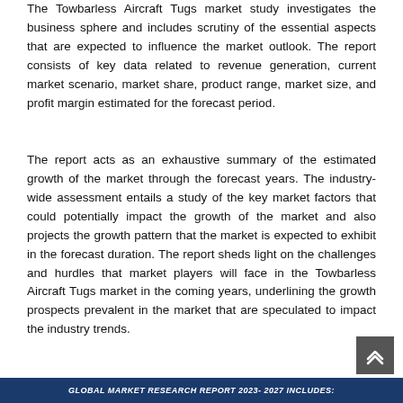The Towbarless Aircraft Tugs market study investigates the business sphere and includes scrutiny of the essential aspects that are expected to influence the market outlook. The report consists of key data related to revenue generation, current market scenario, market share, product range, market size, and profit margin estimated for the forecast period.
The report acts as an exhaustive summary of the estimated growth of the market through the forecast years. The industry-wide assessment entails a study of the key market factors that could potentially impact the growth of the market and also projects the growth pattern that the market is expected to exhibit in the forecast duration. The report sheds light on the challenges and hurdles that market players will face in the Towbarless Aircraft Tugs market in the coming years, underlining the growth prospects prevalent in the market that are speculated to impact the industry trends.
GLOBAL MARKET RESEARCH REPORT 2023- 2027 INCLUDES: